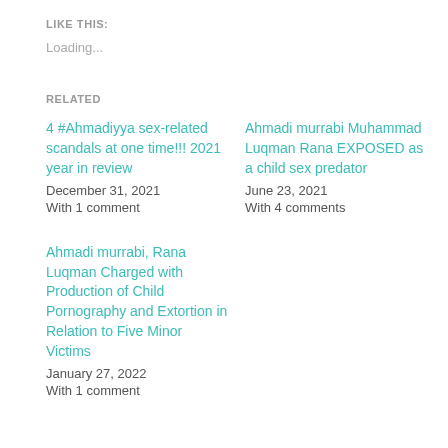LIKE THIS:
Loading...
RELATED
4 #Ahmadiyya sex-related scandals at one time!!! 2021 year in review
December 31, 2021
With 1 comment
Ahmadi murrabi Muhammad Luqman Rana EXPOSED as a child sex predator
June 23, 2021
With 4 comments
Ahmadi murrabi, Rana Luqman Charged with Production of Child Pornography and Extortion in Relation to Five Minor Victims
January 27, 2022
With 1 comment